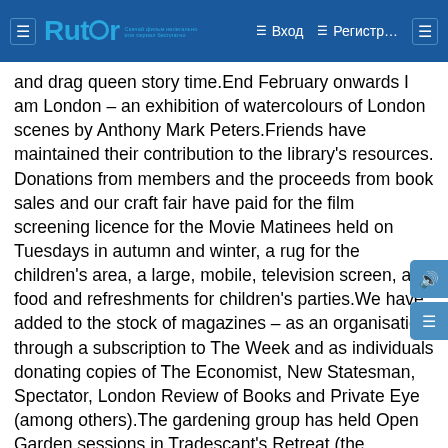Rutor — Вход — Регистр…
and drag queen story time.End February onwards I am London – an exhibition of watercolours of London scenes by Anthony Mark Peters.Friends have maintained their contribution to the library's resources. Donations from members and the proceeds from book sales and our craft fair have paid for the film screening licence for the Movie Matinees held on Tuesdays in autumn and winter, a rug for the children's area, a large, mobile, television screen, and food and refreshments for children's parties.We have added to the stock of magazines – as an organisation through a subscription to The Week and as individuals donating copies of The Economist, New Statesman, Spectator, London Review of Books and Private Eye (among others).The gardening group has held Open Garden sessions in Tradescant's Retreat (the courtyard garden at the rear of the library) on the second Saturday of each month during the summer period. People could sit down (sheltered by a gazebo), read, meet the volunteers who tend the garden and share seeds.Meanwhile, in the hope of influencing the shape and direction of overall library policy and specifically how it affects our library, members of the committee of Friends of Tot…